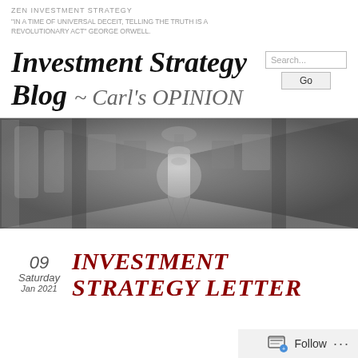ZEN INVESTMENT STRATEGY
"IN A TIME OF UNIVERSAL DECEIT, TELLING THE TRUTH IS A REVOLUTIONARY ACT" GEORGE ORWELL.
Investment Strategy Blog ~ Carl's OPINION
[Figure (photo): Black and white photograph of an ornate grand hallway with arched ceilings, chandeliers, columns, and framed paintings on the walls, viewed in perspective.]
09
Saturday
Jan 2021
INVESTMENT STRATEGY LETTER